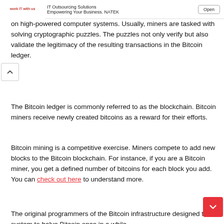IT Outsourcing Solutions Empowering Your Business. NATEK | Open
on high-powered computer systems. Usually, miners are tasked with solving cryptographic puzzles. The puzzles not only verify but also validate the legitimacy of the resulting transactions in the Bitcoin ledger.
The Bitcoin ledger is commonly referred to as the blockchain. Bitcoin miners receive newly created bitcoins as a reward for their efforts.
Bitcoin mining is a competitive exercise. Miners compete to add new blocks to the Bitcoin blockchain. For instance, if you are a Bitcoin miner, you get a defined number of bitcoins for each block you add. You can check out here to understand more.
The original programmers of the Bitcoin infrastructure designed the system to halve Bitcoin once in a while.